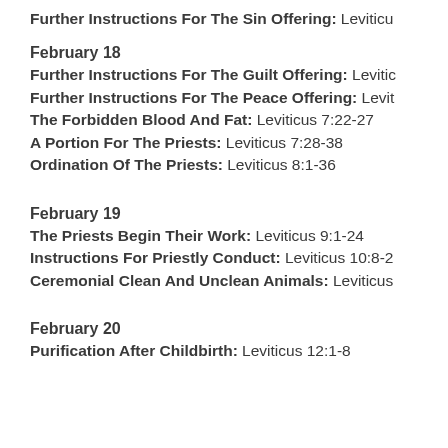Further Instructions For The Sin Offering: Leviticus
February 18
Further Instructions For The Guilt Offering: Leviticus
Further Instructions For The Peace Offering: Leviticus
The Forbidden Blood And Fat: Leviticus 7:22-27
A Portion For The Priests: Leviticus 7:28-38
Ordination Of The Priests: Leviticus 8:1-36
February 19
The Priests Begin Their Work: Leviticus 9:1-24
Instructions For Priestly Conduct: Leviticus 10:8-2
Ceremonial Clean And Unclean Animals: Leviticus
February 20
Purification After Childbirth: Leviticus 12:1-8